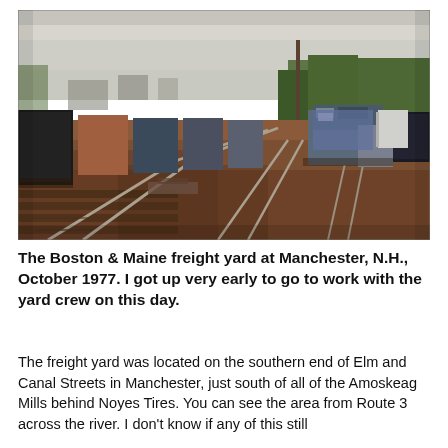[Figure (photo): A photograph of the Boston & Maine freight yard at Manchester, N.H., taken in October 1977. The image shows railroad tracks diverging in the foreground, freight cars and locomotives visible in the middle ground, with trees and a utility pole in the background under an overcast sky.]
The Boston & Maine freight yard at Manchester, N.H., October 1977. I got up very early to go to work with the yard crew on this day.
The freight yard was located on the southern end of Elm and Canal Streets in Manchester, just south of all of the Amoskeag Mills behind Noyes Tires. You can see the area from Route 3 across the river. I don't know if any of this still